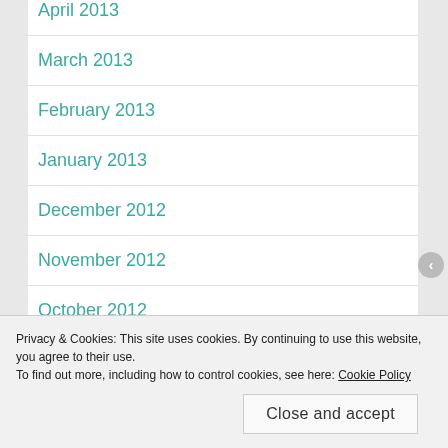April 2013
March 2013
February 2013
January 2013
December 2012
November 2012
October 2012
September 2012
Privacy & Cookies: This site uses cookies. By continuing to use this website, you agree to their use. To find out more, including how to control cookies, see here: Cookie Policy
Close and accept